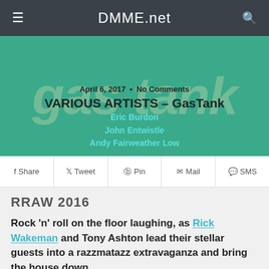DMME.net
[Figure (other): GasTank album art background with large stylized text 'gas tank' in muted green on teal background]
April 6, 2017 • No Comments
VARIOUS ARTISTS – GasTank
Eric Burdon
John Entwistle
Andy Fairweather Low
Share  Tweet  Pin  Mail  SMS
RRAW 2016
Rock 'n' roll on the floor laughing, as Rick Wakeman and Tony Ashton lead their stellar guests into a razzmatazz extravaganza and bring the house down.